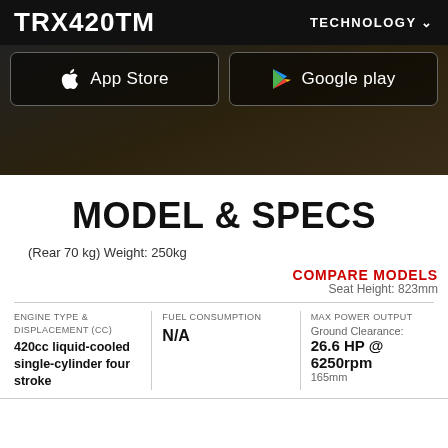TRX420TM    TECHNOLOGY
[Figure (screenshot): App Store and Google play download buttons on dark background]
MODEL & SPECS
(Rear 70 kg) Weight: 250kg
COMPARE MODELS    Seat Height: 823mm
| ENGINE TYPE & DISPLACEMENT (CC) | FUEL CONSUMPTION | MAX POWER OUTPUT |
| --- | --- | --- |
| 420cc liquid-cooled single-cylinder four stroke | N/A | 26.6 HP @ 6250rpm
Ground Clearance: 165mm |